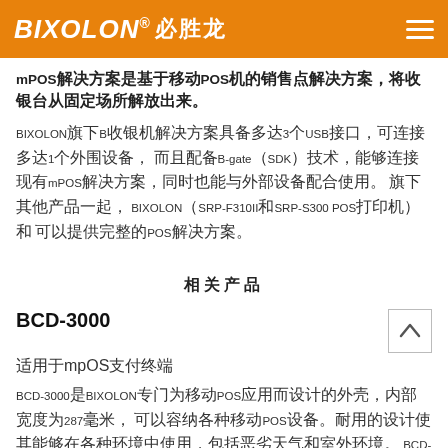BIXOLON® 必胜龙
mPOS解决方案是基于移动POS机的销售点解决方案，将收银台从固定场所解放出来。
BIXOLON旗下B收银机解决方案具备多达3个USB接口，可连接多达1个外围设备，而且配备B-gate（SDK）技术，能够连接现有mPOS解决方案，同时也能与外部设备配合使用。BIXOLON（SRP-F310II和SRP-S300 POS打印机）和 旗下其他产品一起，可以提供完整的POS解决方案。
相关产品
BCD-3000
适用于mpOS支付终端
BCD-3000是BIXOLON专门为移动POS应用而设计的外壳，内部宽度为287毫米，可以容纳各种移动POS设备。耐用的设计使其能够在各种环境中使用，包括恶劣天气和室外环境。 BCD-3000温度范围为0°至35°，并具有USB接口连接。